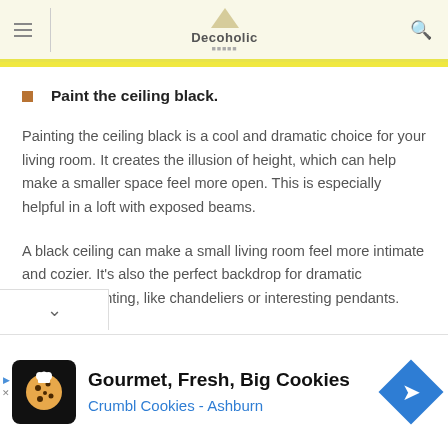Decoholic
Paint the ceiling black.
Painting the ceiling black is a cool and dramatic choice for your living room. It creates the illusion of height, which can help make a smaller space feel more open. This is especially helpful in a loft with exposed beams.
A black ceiling can make a small living room feel more intimate and cozier. It's also the perfect backdrop for dramatic statement lighting, like chandeliers or interesting pendants.
[Figure (other): Advertisement banner for Crumbl Cookies - Ashburn. Shows cookie icon, text 'Gourmet, Fresh, Big Cookies' and 'Crumbl Cookies - Ashburn', with a blue diamond navigation arrow.]